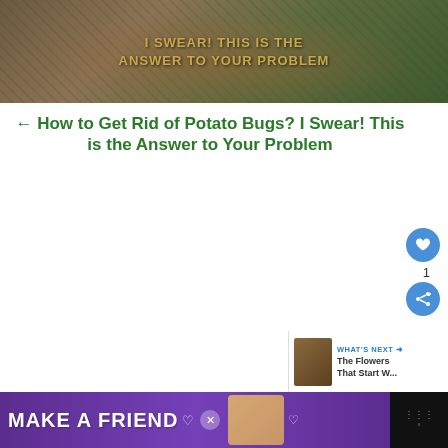[Figure (photo): Top banner image showing a potato bug/Jerusalem cricket on sandy soil with a semi-transparent overlay and text 'I SWEAR! THIS IS THE ANSWER TO YOUR PROBLEM' in gold letters]
← How to Get Rid of Potato Bugs? I Swear! This is the Answer to Your Problem
[Figure (photo): Bottom banner image showing cherry blossom tree branches against a blue sky with text '#6 Absolutely Stunning FLOWERS' overlaid]
[Figure (infographic): WHAT'S NEXT widget showing a thumbnail and text 'The Flowers That Start W...']
[Figure (photo): Advertisement banner: 'MAKE A FRIEND' in white bold text on purple background with a dog image and heart icons]